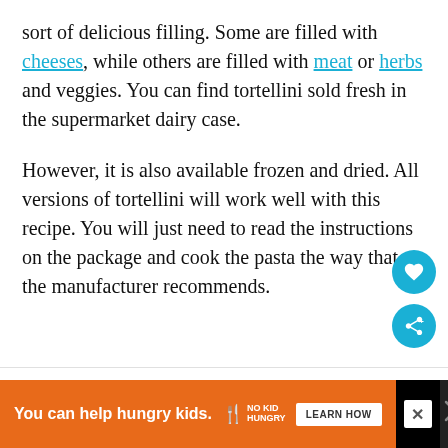sort of delicious filling. Some are filled with cheeses, while others are filled with meat or herbs and veggies. You can find tortellini sold fresh in the supermarket dairy case.
However, it is also available frozen and dried. All versions of tortellini will work well with this recipe. You will just need to read the instructions on the package and cook the pasta the way that the manufacturer recommends.
[Figure (screenshot): Advertisement bar: orange section with 'You can help hungry kids.' text, No Kid Hungry logo, and LEARN HOW button; black section on the right with close X button and decorative icon]